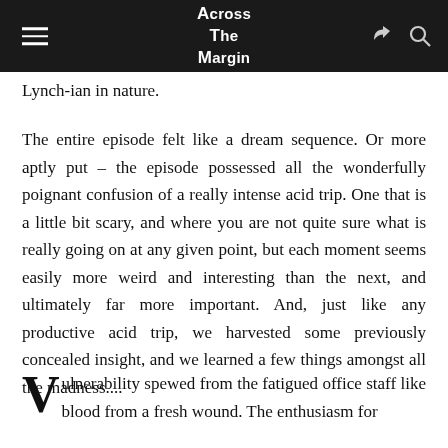Across The Margin
Lynch-ian in nature.
The entire episode felt like a dream sequence. Or more aptly put – the episode possessed all the wonderfully poignant confusion of a really intense acid trip. One that is a little bit scary, and where you are not quite sure what is really going on at any given point, but each moment seems easily more weird and interesting than the next, and ultimately far more important. And, just like any productive acid trip, we harvested some previously concealed insight, and we learned a few things amongst all the madness....
Vulnerability spewed from the fatigued office staff like blood from a fresh wound. The enthusiasm for